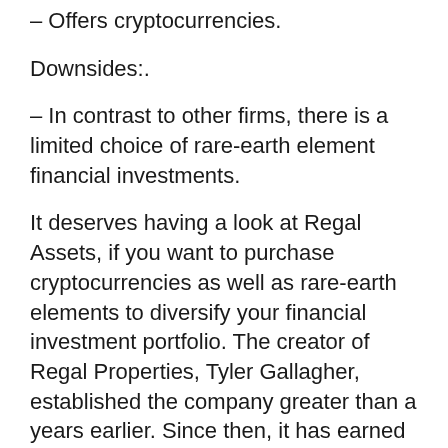– Offers cryptocurrencies.
Downsides:.
– In contrast to other firms, there is a limited choice of rare-earth element financial investments.
It deserves having a look at Regal Assets, if you want to purchase cryptocurrencies as well as rare-earth elements to diversify your financial investment portfolio. The creator of Regal Properties, Tyler Gallagher, established the company greater than a years earlier. Since then, it has earned a reputation as a trustworthy gold IRA company. It belongs to the Forbes Finance Council and also has an experienced, dedicated as well as